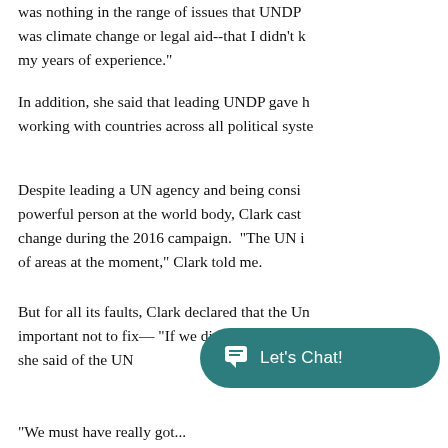was nothing in the range of issues that UNDP was climate change or legal aid--that I didn't k my years of experience."
In addition, she said that leading UNDP gave h working with countries across all political syste
Despite leading a UN agency and being consi powerful person at the world body, Clark cast change during the 2016 campaign.  "The UN i of areas at the moment," Clark told me.
But for all its faults, Clark declared that the Un important not to fix— "If we didn't have it, we'd she said of the UN
"We must have really got...